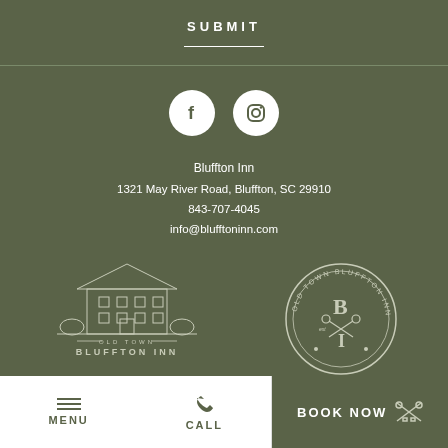SUBMIT
[Figure (illustration): Social media icons: Facebook and Instagram white circles on dark green background]
Bluffton Inn
1321 May River Road, Bluffton, SC 29910
843-707-4045
info@blufftoninn.com
[Figure (logo): Old Town Bluffton Inn logo - illustration of inn building with text OLD TOWN BLUFFTON INN]
[Figure (logo): Old Town Bluffton Inn circular seal/badge logo with B I monogram]
MENU  CALL  BOOK NOW